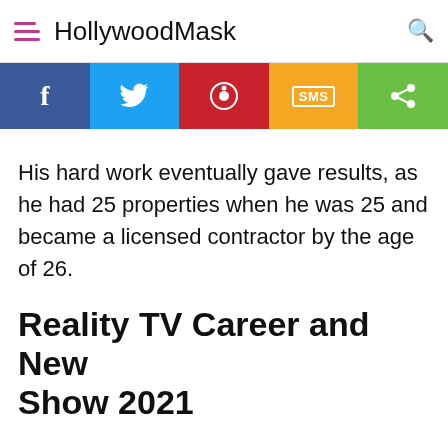HollywoodMask
[Figure (infographic): Social share bar with Facebook, Twitter, Pinterest, SMS, and Share buttons]
His hard work eventually gave results, as he had 25 properties when he was 25 and became a licensed contractor by the age of 26.
Reality TV Career and New Show 2021